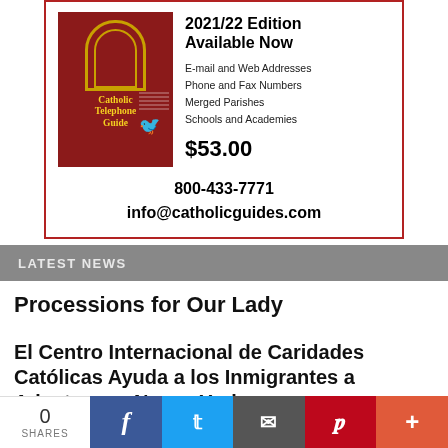[Figure (illustration): Advertisement for Catholic Telephone Guide 2021/22 Edition. Shows a red book cover with an arch doorway illustration and a bird graphic. Right side lists features: E-mail and Web Addresses, Phone and Fax Numbers, Merged Parishes, Schools and Academies. Price $53.00. Phone: 800-433-7771, email: info@catholicguides.com]
LATEST NEWS
Processions for Our Lady
El Centro Internacional de Caridades Católicas Ayuda a los Inmigrantes a Adaptarse a Nueva York